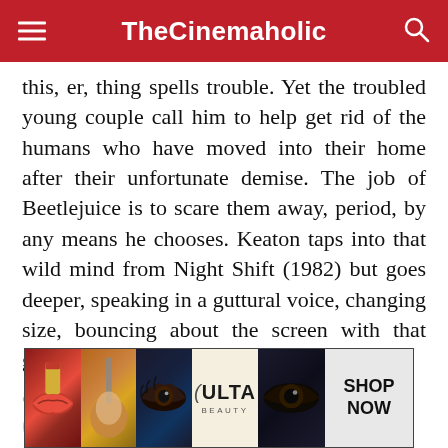TheCinemaholic
this, er, thing spells trouble. Yet the troubled young couple call him to help get rid of the humans who have moved into their home after their unfortunate demise. The job of Beetlejuice is to scare them away, period, by any means he chooses. Keaton taps into that wild mind from Night Shift (1982) but goes deeper, speaking in a guttural voice, changing size, bouncing about the screen with that glorious Keaton energy. He was an absolute delight.
[Figure (screenshot): ULTA Beauty advertisement banner with makeup imagery and SHOP NOW button]